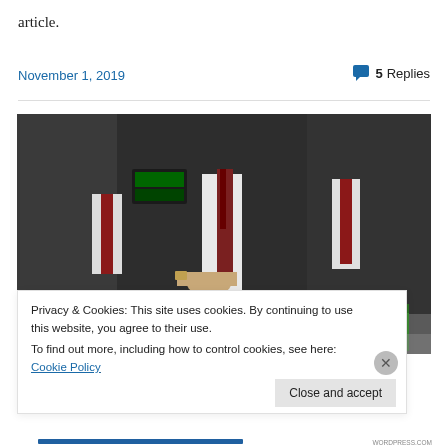article.
November 1, 2019
💬 5 Replies
[Figure (photo): Men in dark suits at a retail checkout counter with a cash register, IBM scanner devices labeled 'IBM Presentation Scanner' and 'IBM Pacesetter Scale Scanner', groceries including a red apple, milk carton, and green juice carton visible on the counter.]
Privacy & Cookies: This site uses cookies. By continuing to use this website, you agree to their use.
To find out more, including how to control cookies, see here: Cookie Policy
Close and accept